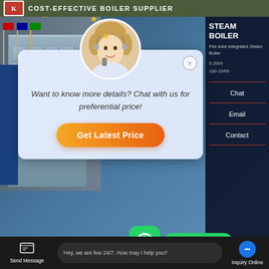COST-EFFECTIVE BOILER SUPPLIER
[Figure (screenshot): Website screenshot showing a steam boiler supplier page with a chat popup modal, featuring an agent avatar, stars, text 'Want to know more details? Chat with us for preferential price!' and a 'Get Latest Price' button. Background shows building with flags and steam boiler product info on right panel.]
STEAM BOILER
Steam Boiler
5-20t/h
100-104%
Want to know more details? Chat with us for preferential price!
Get Latest Price
Chat
Email
Contact
10t Coal Fired Ho   ate   Boil
Contact us now!
Contact us now!
Hey, we are live 24/7. How may I help you?
Send Message   Hey, we are live 24/7. How may I help you?   Inquiry Online